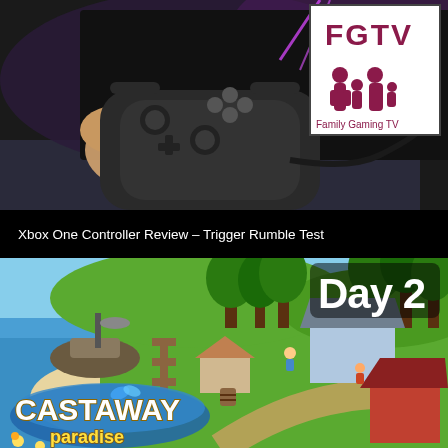[Figure (screenshot): A person holding an Xbox One controller in front of a TV screen with purple/pink lighting effects. A white FGTV logo (family silhouette in a TV frame) is in the top right corner.]
Xbox One Controller Review – Trigger Rumble Test
[Figure (screenshot): Castaway Paradise game promotional image showing a colorful tropical island village scene with characters, buildings, trees, a boat, and a dock. 'Day 2' displayed in top right. 'CASTAWAY paradise' logo in bottom left with wave/butterfly graphics.]